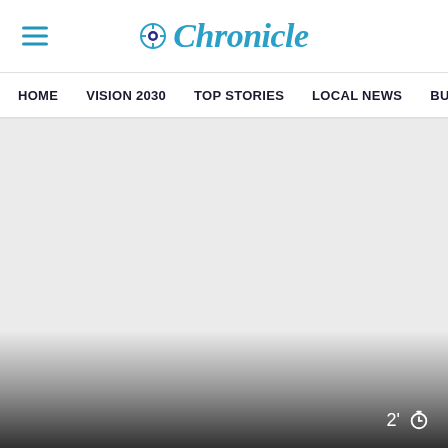Chronicle
HOME   VISION 2030   TOP STORIES   LOCAL NEWS   BUSINE...
[Figure (screenshot): Large grey placeholder content area with gradient overlay at bottom and a '2' timer badge with stopwatch icon in bottom right corner]